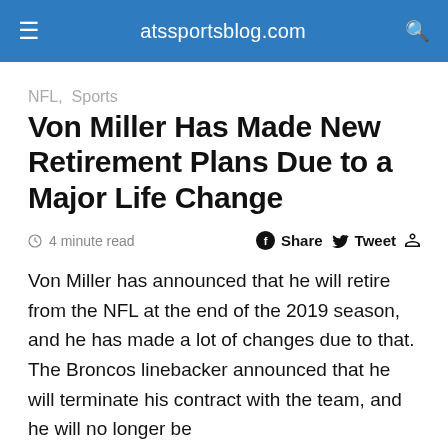atssportsblog.com
NFL,  Sports
Von Miller Has Made New Retirement Plans Due to a Major Life Change
4 minute read   Share  Tweet
Von Miller has announced that he will retire from the NFL at the end of the 2019 season, and he has made a lot of changes due to that. The Broncos linebacker announced that he will terminate his contract with the team, and he will no longer be